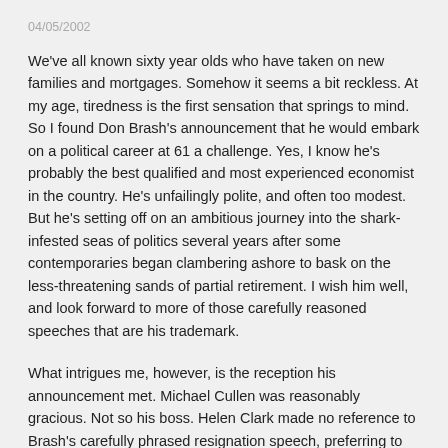04/05/2002
We've all known sixty year olds who have taken on new families and mortgages. Somehow it seems a bit reckless. At my age, tiredness is the first sensation that springs to mind. So I found Don Brash's announcement that he would embark on a political career at 61 a challenge. Yes, I know he's probably the best qualified and most experienced economist in the country. He's unfailingly polite, and often too modest. But he's setting off on an ambitious journey into the shark-infested seas of politics several years after some contemporaries began clambering ashore to bask on the less-threatening sands of partial retirement. I wish him well, and look forward to more of those carefully reasoned speeches that are his trademark.
What intrigues me, however, is the reception his announcement met. Michael Cullen was reasonably gracious. Not so his boss. Helen Clark made no reference to Brash's carefully phrased resignation speech, preferring to play the man, not the ball. On BFM radio she let fly with embarrassingly ageist remarks. The usual left-wing commentators who take their cue from on high fell